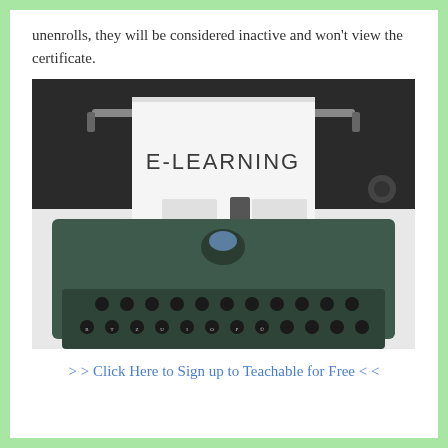unenrolls, they will be considered inactive and won't view the certificate.
[Figure (photo): A vintage green typewriter with a white sheet of paper inserted showing the text 'E-LEARNING' in large dark letters. The keyboard is visible at the bottom with QWERTZ-style keys. Background is dark/black on top and light/white on bottom.]
> > Click Here to Sign up to Teachable for Free < <